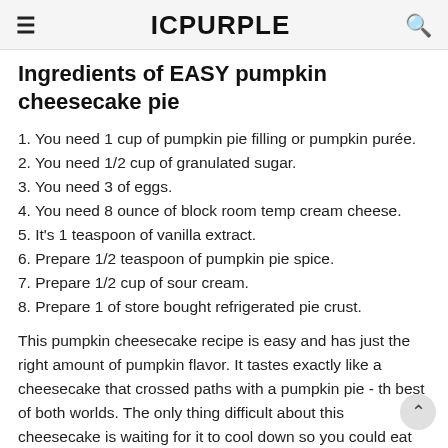ICPURPLE
Ingredients of EASY pumpkin cheesecake pie
1. You need 1 cup of pumpkin pie filling or pumpkin purée.
2. You need 1/2 cup of granulated sugar.
3. You need 3 of eggs.
4. You need 8 ounce of block room temp cream cheese.
5. It's 1 teaspoon of vanilla extract.
6. Prepare 1/2 teaspoon of pumpkin pie spice.
7. Prepare 1/2 cup of sour cream.
8. Prepare 1 of store bought refrigerated pie crust.
This pumpkin cheesecake recipe is easy and has just the right amount of pumpkin flavor. It tastes exactly like a cheesecake that crossed paths with a pumpkin pie - the best of both worlds. The only thing difficult about this cheesecake is waiting for it to cool down so you could eat